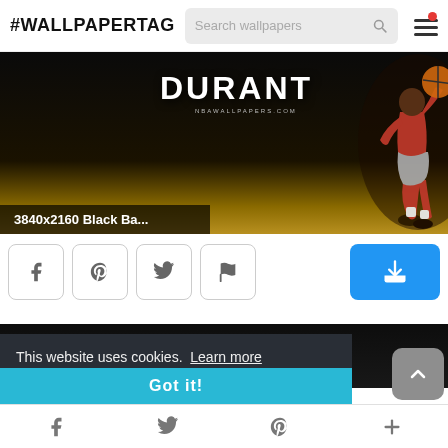#WALLPAPERTAG
[Figure (screenshot): Wallpaper image of basketball player Durant on dark background with golden court floor, with label '3840x2160 Black Ba...']
3840x2160 Black Ba...
[Figure (screenshot): Social share buttons: Facebook, Pinterest, Twitter, Flag; and a blue download button]
[Figure (screenshot): Second wallpaper image partial view, dark background]
This website uses cookies. Learn more
Got it!
Facebook  Twitter  Pinterest  +